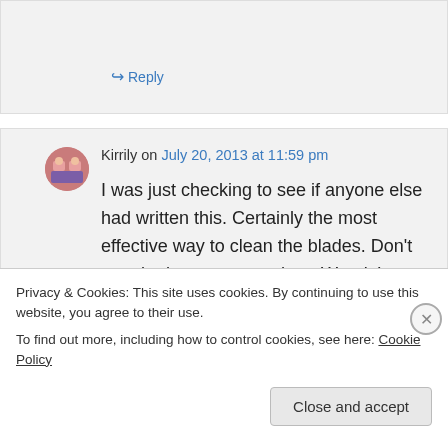↪ Reply
Kirrily on July 20, 2013 at 11:59 pm
I was just checking to see if anyone else had written this. Certainly the most effective way to clean the blades. Don't ever bother to scrape them Wendy!
↪ Reply
Privacy & Cookies: This site uses cookies. By continuing to use this website, you agree to their use.
To find out more, including how to control cookies, see here: Cookie Policy
Close and accept